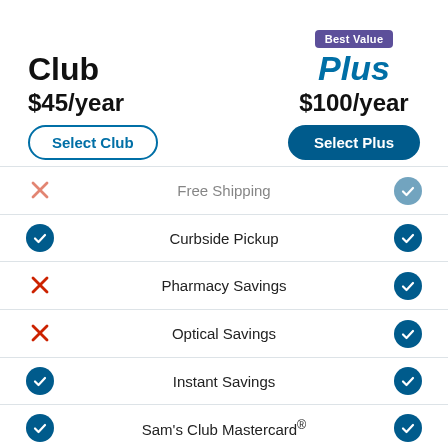Club $45/year
Best Value Plus $100/year
| Club | Feature | Plus |
| --- | --- | --- |
| ✗ | Free Shipping | ✓ |
| ✓ | Curbside Pickup | ✓ |
| ✗ | Pharmacy Savings | ✓ |
| ✗ | Optical Savings | ✓ |
| ✓ | Instant Savings | ✓ |
| ✓ | Sam's Club Mastercard® | ✓ |
| ✓ | Members-only fuel savings | ✓ |